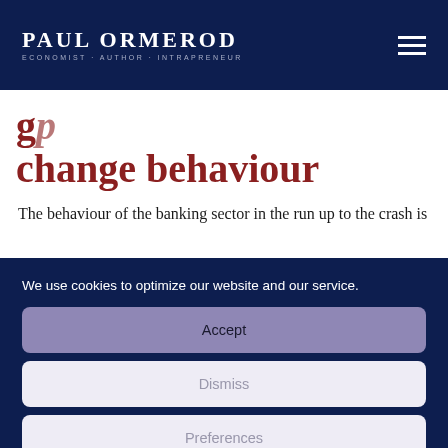Paul Ormerod — Economist Author Intrapreneur
change behaviour
The behaviour of the banking sector in the run up to the crash is
We use cookies to optimize our website and our service.
Accept
Dismiss
Preferences
Privacy Policy